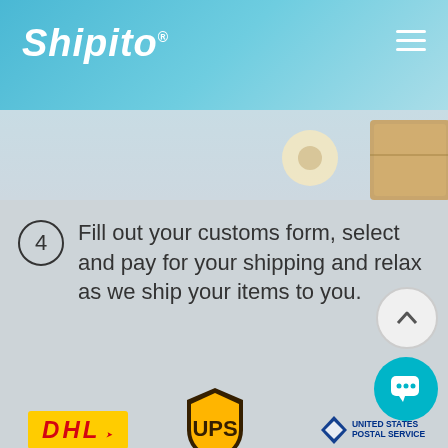Shipito
[Figure (photo): Partial view of tape roll and cardboard box in the banner area]
4 Fill out your customs form, select and pay for your shipping and relax as we ship your items to you.
[Figure (logo): Carrier logos including DHL, UPS, United States Postal Service, Boxberry, Airmail Economy, Post, Australia Post, Pony Express, and a mascot character]